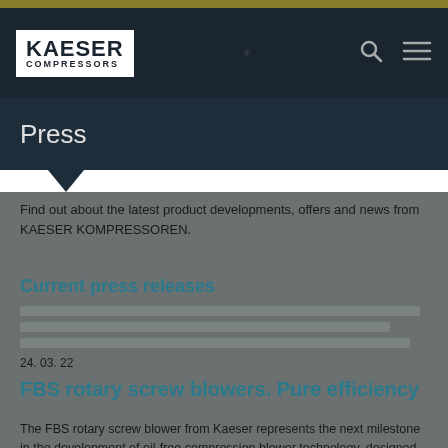KAESER COMPRESSORS
Press
Find out about the latest product developments, offers and news from KAESER KOMPRESSOREN.
Current press releases
24. 03. 22
FBS rotary screw blowers. Pure efficiency
The FBS rotary screw blower from Kaeser represents the next milestone in the development of oil-free compression blower technology, designed especially with water industry applications in mind.